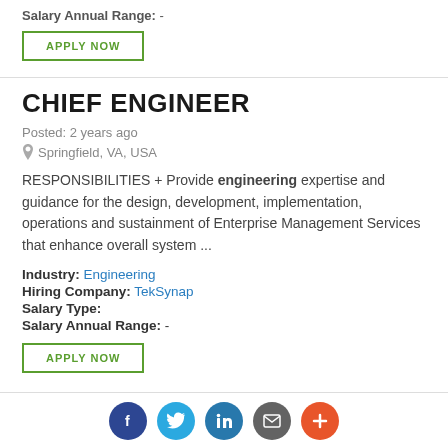Salary Annual Range: -
APPLY NOW
CHIEF ENGINEER
Posted: 2 years ago
Springfield, VA, USA
RESPONSIBILITIES + Provide engineering expertise and guidance for the design, development, implementation, operations and sustainment of Enterprise Management Services that enhance overall system ...
Industry: Engineering
Hiring Company: TekSynap
Salary Type:
Salary Annual Range: -
APPLY NOW
[Figure (infographic): Social sharing icons: Facebook (dark blue), Twitter (light blue), LinkedIn (teal/blue), Email (gray), More/Plus (orange-red)]